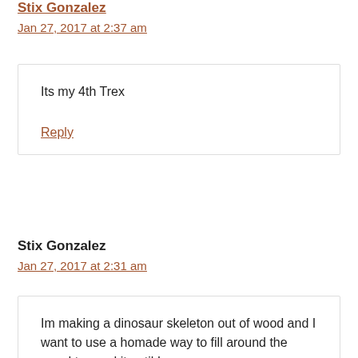Stix Gonzalez
Jan 27, 2017 at 2:37 am
Its my 4th Trex
Reply
Stix Gonzalez
Jan 27, 2017 at 2:31 am
Im making a dinosaur skeleton out of wood and I want to use a homade way to fill around the wood to sand it until I